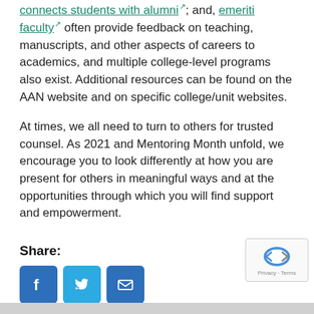connects students with alumni; and, emeriti faculty often provide feedback on teaching, manuscripts, and other aspects of careers to academics, and multiple college-level programs also exist. Additional resources can be found on the AAN website and on specific college/unit websites.
At times, we all need to turn to others for trusted counsel. As 2021 and Mentoring Month unfold, we encourage you to look differently at how you are present for others in meaningful ways and at the opportunities through which you will find support and empowerment.
Share:
[Figure (infographic): Social share buttons: Facebook (blue), Twitter (light blue), Email (blue)]
Categories: OFASD Blog